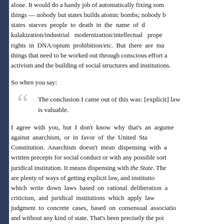alone. It would do a handy job of automatically fixing some things — nobody but states builds atomic bombs; nobody but states starves people to death in the name of dekulakization/industrial modernization/intellectual property rights in DNA/opium prohibition/etc. But there are many things that need to be worked out through conscious effort and activism and the building of social structures and institutions.
So when you say:
The conclusion I came out of this was: [explicit] law is valuable.
I agree with you, but I don't know why that's an argument against anarchism, or in favor of the United States Constitution. Anarchism doesn't mean dispensing with all written precepts for social conduct or with any possible sort of juridical institution. It means dispensing with the State. There are plenty of ways of getting explicit law, and institutions which write down laws based on rational deliberation and criticism, and juridical institutions which apply law and judgment to concrete cases, based on consensual association and without any kind of state. That's been precisely the point of market anarchist theory since the get-go. The idea is not to get rid of orderly dispute resolution, but rather to stop the State from violently suppressing alternative forms of it.